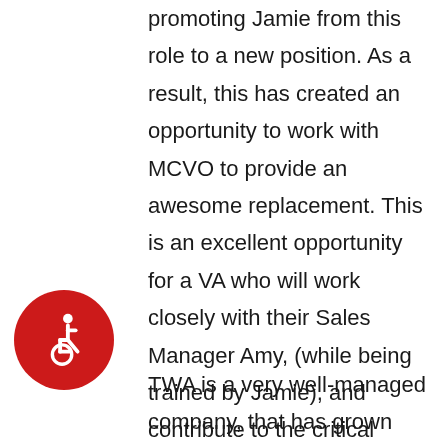promoting Jamie from this role to a new position. As a result, this has created an opportunity to work with MCVO to provide an awesome replacement. This is an excellent opportunity for a VA who will work closely with their Sales Manager Amy, (while being trained by Jamie), and contribute to the critical function of providing a steady stream of new clients.
[Figure (illustration): Red circle with white wheelchair accessibility icon]
TWA is a very well-managed company, that has grown every year (except in 2020 due to Covid). The New Business